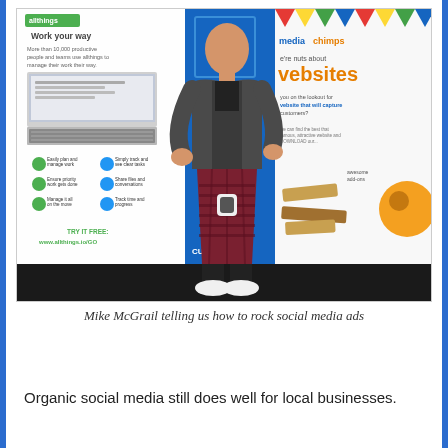[Figure (photo): A man wearing a kilt and dark jacket standing on a stage, presenting in front of two roll-up banners. The left banner is for 'allthings' (green and white, promoting work management software). The center banner is blue. The right banner is for 'mediachimps' (white and orange, promoting website services).]
Mike McGrail telling us how to rock social media ads
Organic social media still does well for local businesses.